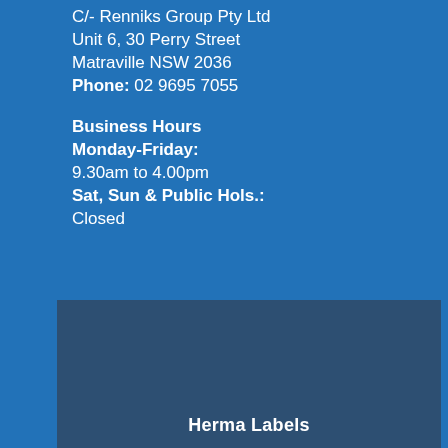C/- Renniks Group Pty Ltd
Unit 6, 30 Perry Street
Matraville NSW 2036
Phone: 02 9695 7055
Business Hours
Monday-Friday:
9.30am to 4.00pm
Sat, Sun  & Public Hols.:
Closed
[Figure (other): Dark blue card panel with 'Herma Labels' text at bottom]